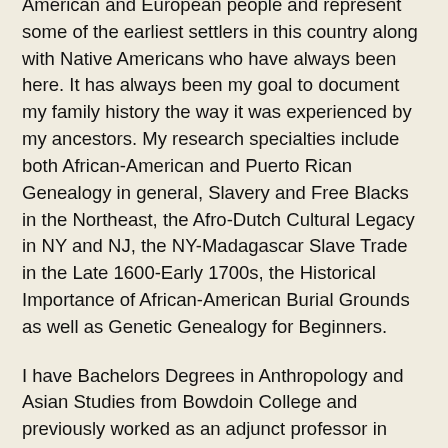American and European people and represent some of the earliest settlers in this country along with Native Americans who have always been here. It has always been my goal to document my family history the way it was experienced by my ancestors. My research specialties include both African-American and Puerto Rican Genealogy in general, Slavery and Free Blacks in the Northeast, the Afro-Dutch Cultural Legacy in NY and NJ, the NY-Madagascar Slave Trade in the Late 1600-Early 1700s, the Historical Importance of African-American Burial Grounds as well as Genetic Genealogy for Beginners.
I have Bachelors Degrees in Anthropology and Asian Studies from Bowdoin College and previously worked as an adjunct professor in Cultural Anthropology while attending CUNY Graduate School and University Center's doctoral program in Anthropology. My background in cultural anthropology has helped me research my ancestral roots. I started my blog, www.radiantrootsboricuabranches.com, to share my genealogy research on both my maternal mixed race African-American side as well as my Puerto Rican paternal side. I am a proud member of both the NJ and NY Chapters of the Afro-American Historical and Genealogical Society (AAGHS) and a BlackProGenLIVE panelist. I am